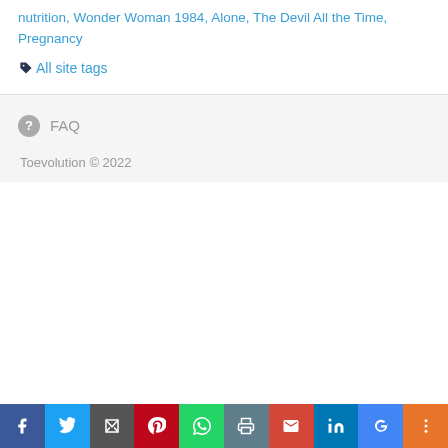nutrition, Wonder Woman 1984, Alone, The Devil All the Time, Pregnancy
All site tags
FAQ
Toevolution © 2022
Facebook Twitter Email Pinterest WhatsApp Print Gmail LinkedIn Google More